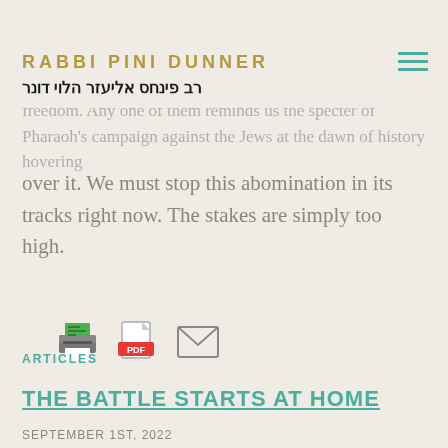RABBI PINI DUNNER | רב פינחס אליעזר הלוי דונר
every narrative that endangers the future of democracy and freedom. Any one of them reminds us the specter of Pharaoh's campaign against the Jews at the dawn of history hovering over it. We must stop this abomination in its tracks right now. The stakes are simply too high.
[Figure (other): Three icons: print icon (printer with green paper), PDF icon (document with red PDF label), email icon (envelope outline)]
ARTICLES
THE BATTLE STARTS AT HOME
SEPTEMBER 1ST, 2022